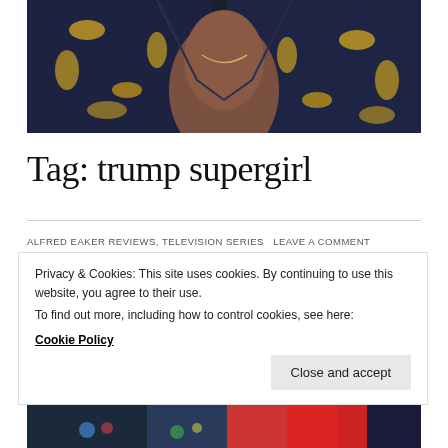[Figure (photo): Close-up photo of a person wearing a dark navy and gold paisley patterned shirt or jacket, partially unbuttoned]
Tag: trump supergirl
ALFRED EAKER REVIEWS, TELEVISION SERIES   LEAVE A COMMENT
Privacy & Cookies: This site uses cookies. By continuing to use this website, you agree to their use.
To find out more, including how to control cookies, see here:
Cookie Policy
Close and accept
[Figure (photo): Bottom portion of an image showing colorful scene, partially visible]